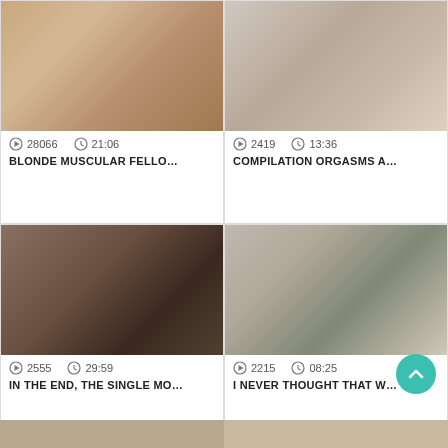[Figure (photo): Video thumbnail 1 - blonde muscular fello]
28066  21:06
BLONDE MUSCULAR FELLO...
[Figure (photo): Video thumbnail 2 - compilation orgasms]
2419  13:36
COMPILATION ORGASMS A...
[Figure (photo): Video thumbnail 3 - in the end the single mo]
2555  29:59
IN THE END, THE SINGLE MO...
[Figure (photo): Video thumbnail 4 - i never thought that]
2215  08:25
I NEVER THOUGHT THAT W...